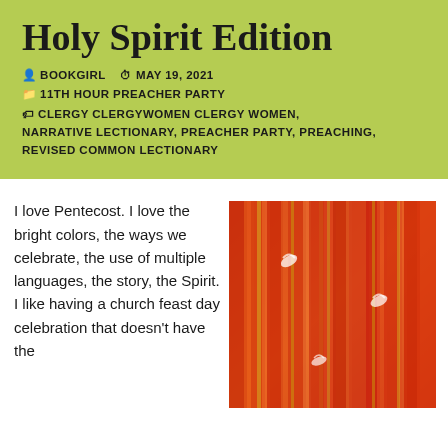Holy Spirit Edition
BOOKGIRL   MAY 19, 2021
11TH HOUR PREACHER PARTY
CLERGY CLERGYWOMEN CLERGY WOMEN, NARRATIVE LECTIONARY, PREACHER PARTY, PREACHING, REVISED COMMON LECTIONARY
I love Pentecost. I love the bright colors, the ways we celebrate, the use of multiple languages, the story, the Spirit. I like having a church feast day celebration that doesn't have the
[Figure (photo): Abstract painting with vertical red, orange, and yellow brushstrokes on a textured background, with small white dove-like shapes visible]